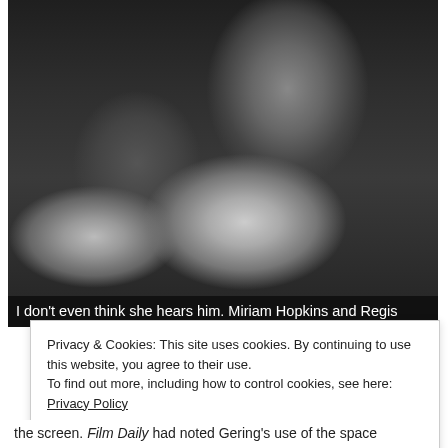[Figure (photo): Black and white film still showing two people — a man leaning over a woman who is lying back; the man appears to be grabbing or touching her neck/chest area. The image appears to be from a classic Hollywood film.]
I don't even think she hears him. Miriam Hopkins and Regis
Privacy & Cookies: This site uses cookies. By continuing to use this website, you agree to their use.
To find out more, including how to control cookies, see here: Privacy Policy
Close and accept
the screen. Film Daily had noted Gering's use of the space